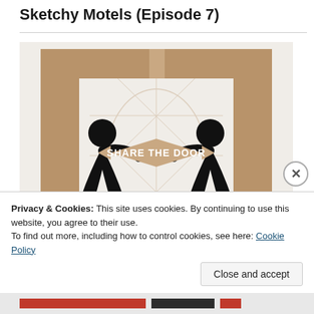Sketchy Motels (Episode 7)
[Figure (illustration): Two black silhouette figures facing each other pulling on a door frame, with a tan/brown door frame open in the middle showing a hexagonal net pattern in the background. A banner in the center reads 'SHARE THE DOOR' in white bold text on a tan diamond shape.]
Privacy & Cookies: This site uses cookies. By continuing to use this website, you agree to their use.
To find out more, including how to control cookies, see here: Cookie Policy